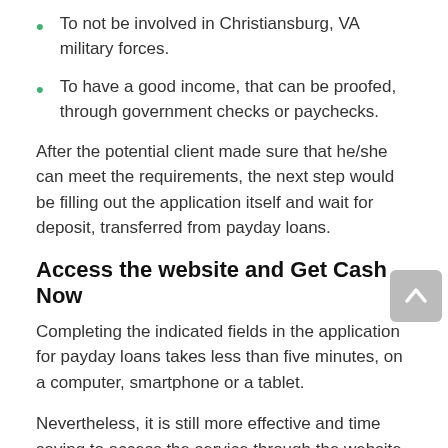To not be involved in Christiansburg, VA military forces.
To have a good income, that can be proofed, through government checks or paychecks.
After the potential client made sure that he/she can meet the requirements, the next step would be filling out the application itself and wait for deposit, transferred from payday loans.
Access the website and Get Cash Now
Completing the indicated fields in the application for payday loans takes less than five minutes, on a computer, smartphone or a tablet.
Nevertheless, it is still more effective and time saving to access the service through the website, because thus, the client will not have to wait for a business to open. In case the application was completed before 5 p.m. on a weekday, the loan will deposit by the next business day, right in the